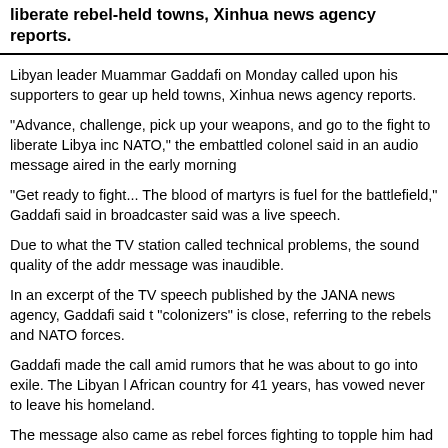liberate rebel-held towns, Xinhua news agency reports.
Libyan leader Muammar Gaddafi on Monday called upon his supporters to gear up held towns, Xinhua news agency reports.
"Advance, challenge, pick up your weapons, and go to the fight to liberate Libya inc NATO," the embattled colonel said in an audio message aired in the early morning
"Get ready to fight... The blood of martyrs is fuel for the battlefield," Gaddafi said in broadcaster said was a live speech.
Due to what the TV station called technical problems, the sound quality of the addr message was inaudible.
In an excerpt of the TV speech published by the JANA news agency, Gaddafi said t "colonizers" is close, referring to the rebels and NATO forces.
Gaddafi made the call amid rumors that he was about to go into exile. The Libyan l African country for 41 years, has vowed never to leave his homeland.
The message also came as rebel forces fighting to topple him had apparently broke battleground and further closed in on the capital.
The rebels said Sunday that they had defeated pro-Gaddafi troops in Zawiyah and 40 km west of Tripoli. The Libyan government, however, has denied the claim.
Zawiyah is of great strategic importance, as it sits on the main highway linking the c